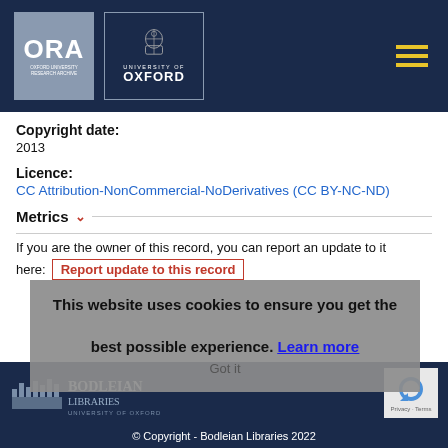[Figure (logo): ORA Oxford University Research Archive logo and University of Oxford logo in dark navy header with hamburger menu icon]
Copyright date:
2013
Licence:
CC Attribution-NonCommercial-NoDerivatives (CC BY-NC-ND)
Metrics ∨
If you are the owner of this record, you can report an update to it here:  Report update to this record
This website uses cookies to ensure you get the best possible experience.  Learn more
[Figure (logo): Bodleian Libraries University of Oxford logo in dark navy footer]
© Copyright - Bodleian Libraries 2022